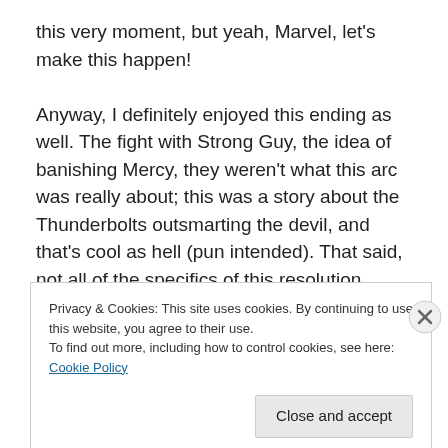this very moment, but yeah, Marvel, let's make this happen!
Anyway, I definitely enjoyed this ending as well. The fight with Strong Guy, the idea of banishing Mercy, they weren't what this arc was really about; this was a story about the Thunderbolts outsmarting the devil, and that's cool as hell (pun intended). That said, not all of the specifics of this resolution worked for me. Mephisto's downfall largely appeared to come down to cluelessness; he didn't seem to have much idea of what their contract actually entailed
Privacy & Cookies: This site uses cookies. By continuing to use this website, you agree to their use.
To find out more, including how to control cookies, see here: Cookie Policy
Close and accept